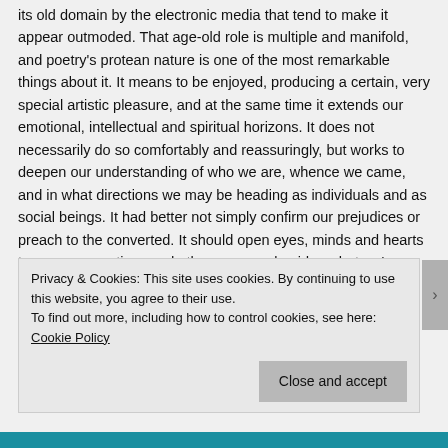its old domain by the electronic media that tend to make it appear outmoded. That age-old role is multiple and manifold, and poetry's protean nature is one of the most remarkable things about it. It means to be enjoyed, producing a certain, very special artistic pleasure, and at the same time it extends our emotional, intellectual and spiritual horizons. It does not necessarily do so comfortably and reassuringly, but works to deepen our understanding of who we are, whence we came, and in what directions we may be heading as individuals and as social beings. It had better not simply confirm our prejudices or preach to the converted. It should open eyes, minds and hearts to new perspectives and other avenues besides what we're accustomed to. It should remind us of the
Privacy & Cookies: This site uses cookies. By continuing to use this website, you agree to their use.
To find out more, including how to control cookies, see here: Cookie Policy
Close and accept